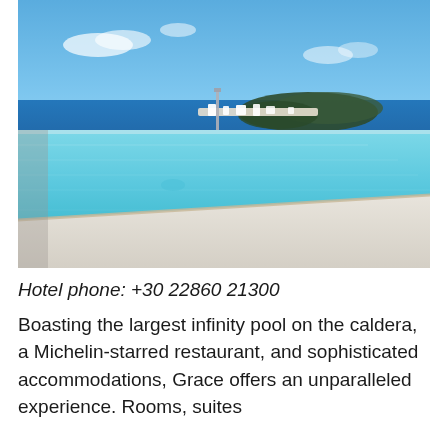[Figure (photo): Infinity pool overlooking the Santorini caldera with turquoise water, white walls, and the volcanic island and blue sea in the background under a bright blue sky.]
Hotel phone: +30 22860 21300
Boasting the largest infinity pool on the caldera, a Michelin-starred restaurant, and sophisticated accommodations, Grace offers an unparalleled experience. Rooms, suites